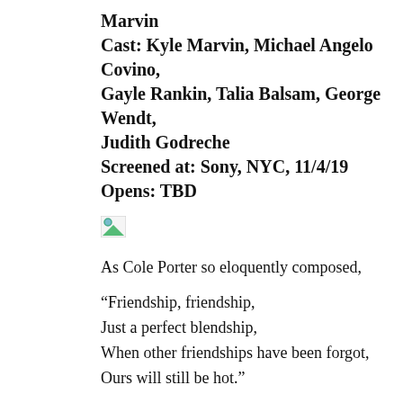Marvin
Cast: Kyle Marvin, Michael Angelo Covino, Gayle Rankin, Talia Balsam, George Wendt, Judith Godreche
Screened at: Sony, NYC, 11/4/19
Opens: TBD
[Figure (photo): Broken/missing image placeholder with small icon]
As Cole Porter so eloquently composed,
“Friendship, friendship,
Just a perfect blendship,
When other friendships have been forgot,
Ours will still be hot.”